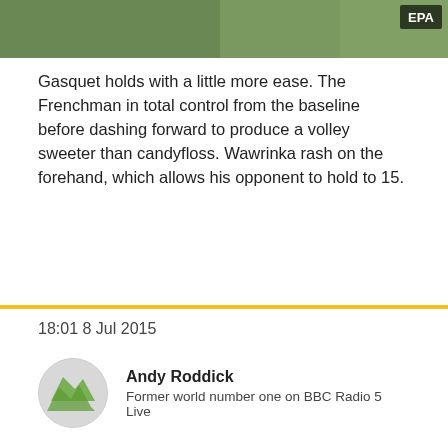[Figure (photo): Cropped photo of a tennis player in white attire, with EPA watermark badge in top right corner]
Gasquet holds with a little more ease. The Frenchman in total control from the baseline before dashing forward to produce a volley sweeter than candyfloss. Wawrinka rash on the forehand, which allows his opponent to hold to 15.
18:01 8 Jul 2015
Andy Roddick
Former world number one on BBC Radio 5 Live
"Pedigree is shining through today. Roger and Murray did well and maybe the most impressive is Novak beating Cilic so comfortably."